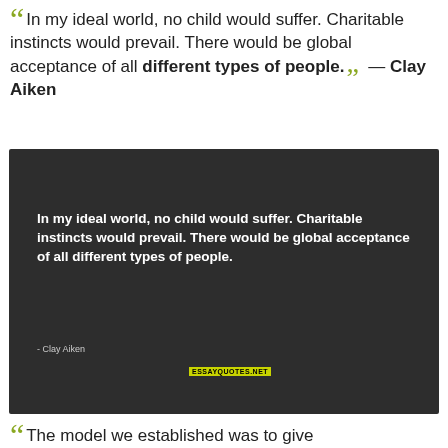“ In my ideal world, no child would suffer. Charitable instincts would prevail. There would be global acceptance of all different types of people.” — Clay Aiken
[Figure (photo): Dark background quote card with white bold text reading: In my ideal world, no child would suffer. Charitable instincts would prevail. There would be global acceptance of all different types of people. Attribution: - Clay Aiken. Watermark: essayquotes.net]
“ The model we established was to give